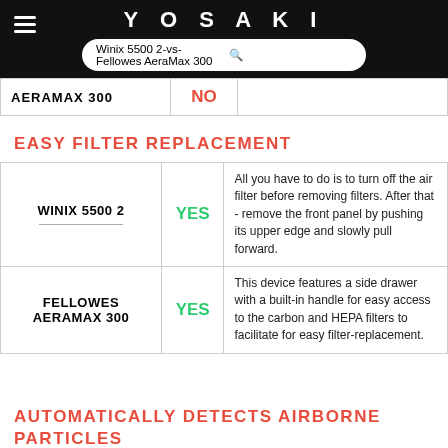YOSAKI — Winix 5500 2-vs-Fellowes AeraMax 300
|  |  |  |
| --- | --- | --- |
| AERAMAX 300 | NO |  |
EASY FILTER REPLACEMENT
|  |  |  |
| --- | --- | --- |
| WINIX 5500 2 | YES | All you have to do is to turn off the air filter before removing filters. After that - remove the front panel by pushing its upper edge and slowly pull forward. |
| FELLOWES AERAMAX 300 | YES | This device features a side drawer with a built-in handle for easy access to the carbon and HEPA filters to facilitate for easy filter-replacement. |
AUTOMATICALLY DETECTS AIRBORNE PARTICLES